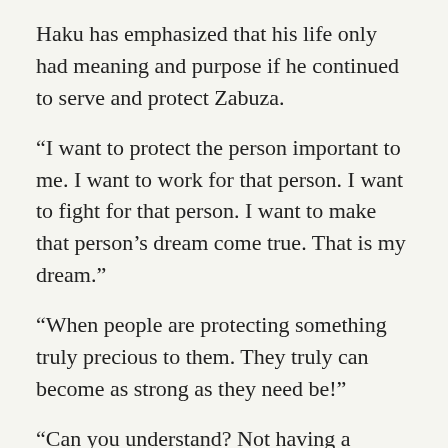Haku has emphasized that his life only had meaning and purpose if he continued to serve and protect Zabuza.
“I want to protect the person important to me. I want to work for that person. I want to fight for that person. I want to make that person’s dream come true. That is my dream.”
“When people are protecting something truly precious to them. They truly can become as strong as they need be!”
“Can you understand? Not having a dream. Not being needed by anyone. The pain of merely being alive.”
“Often people have it wrong, mistakenly believing that